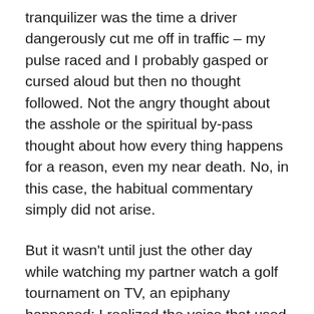tranquilizer was the time a driver dangerously cut me off in traffic – my pulse raced and I probably gasped or cursed aloud but then no thought followed. Not the angry thought about the asshole or the spiritual by-pass thought about how every thing happens for a reason, even my near death. No, in this case, the habitual commentary simply did not arise.
But it wasn't until just the other day while watching my partner watch a golf tournament on TV, an epiphany happened: I realized the voice that used to engage a running commentary on the Life of Lori Ann, had not just quieted down, it had all but dissappeared. Just as if someone had pressed the mute button on the remote, the narrator of my moment-to-moment reality was no longer heckling or cheerleading. Instead, a spacious quietude replaced the blow-by-blow from a voice I'd gotten so used